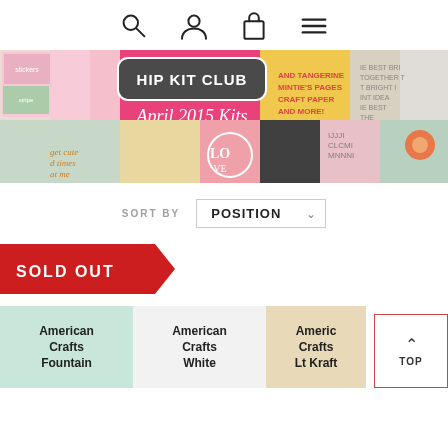[Figure (screenshot): Navigation bar with search, user, bag, and menu icons]
[Figure (photo): Hip Kit Club April 2015 Kits banner with scrapbooking products]
SORT BY  POSITION
[Figure (infographic): SOLD OUT badge in red]
American Crafts Fountain
American Crafts White
American Crafts Lt Kraft
[Figure (other): TOP button with upward arrow]